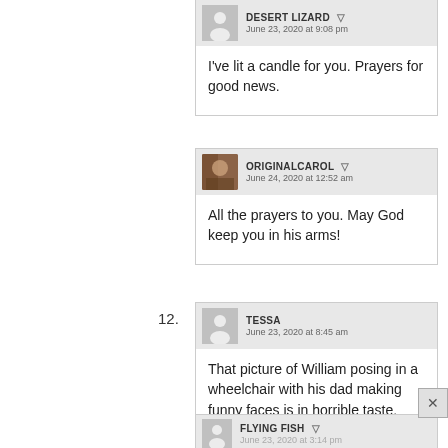DESERT LIZARD
June 23, 2020 at 9:08 pm
I've lit a candle for you. Prayers for good news.
ORIGINALCAROL
June 24, 2020 at 12:52 am
All the prayers to you. May God keep you in his arms!
12.
TESSA
June 23, 2020 at 8:45 am
That picture of William posing in a wheelchair with his dad making funny faces is in horrible taste.
FLYING FISH
June 23, 2020 at 3:14 pm
Every time see that photo, I think the